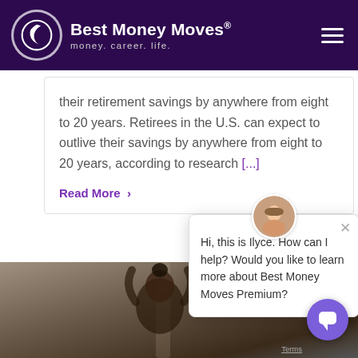Best Money Moves® money. career. life.
their retirement savings by anywhere from eight to 20 years. Retirees in the U.S. can expect to outlive their savings by anywhere from eight to 20 years, according to research [...]
Read More ›
Hi, this is Ilyce. How can I help? Would you like to learn more about Best Money Moves Premium?
[Figure (photo): Person photographed from behind with head tilted upward, dark hair in bun, dark background with vertical light streak]